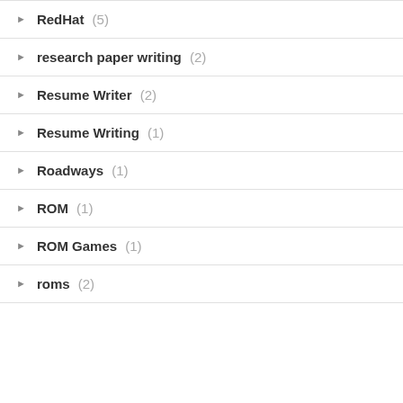RedHat (5)
research paper writing (2)
Resume Writer (2)
Resume Writing (1)
Roadways (1)
ROM (1)
ROM Games (1)
roms (2)